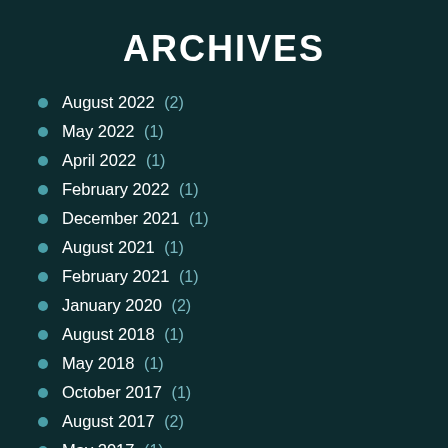ARCHIVES
August 2022 (2)
May 2022 (1)
April 2022 (1)
February 2022 (1)
December 2021 (1)
August 2021 (1)
February 2021 (1)
January 2020 (2)
August 2018 (1)
May 2018 (1)
October 2017 (1)
August 2017 (2)
May 2017 (1)
April 2017 (1)
February 2017 (2)